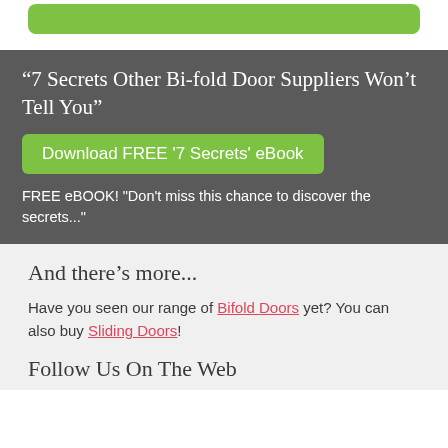[Figure (other): Green rounded button at top of page]
“7 Secrets Other Bi-fold Door Suppliers Won’t Tell You”
[Figure (other): Green button: Download FREE '7 Secrets' eBook]
FREE eBOOK! "Don't miss this chance to discover the secrets..."
And there’s more...
Have you seen our range of Bifold Doors yet? You can also buy Sliding Doors!
Follow Us On The Web